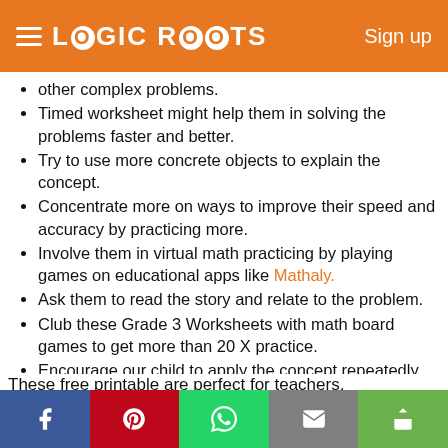LOGIC ROOTS  Sign up
other complex problems.
Timed worksheet might help them in solving the problems faster and better.
Try to use more concrete objects to explain the concept.
Concentrate more on ways to improve their speed and accuracy by practicing more.
Involve them in virtual math practicing by playing games on educational apps like Mathaly.
Ask them to read the story and relate to the problem.
Club these Grade 3 Worksheets with math board games to get more than 20 X practice.
Encourage our child to apply the concept repeatedly while solving word problems.
These free printable are perfect for teachers, homeschooling mothers, parents who are looking for something different from